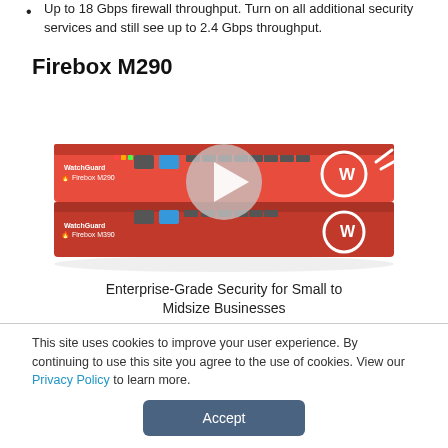Up to 18 Gbps firewall throughput. Turn on all additional security services and still see up to 2.4 Gbps throughput.
Firebox M290
[Figure (photo): WatchGuard Firebox M290 and M390 network security appliances (red 1U rack units) shown stacked, with a semi-transparent play button overlay indicating a video thumbnail.]
Enterprise-Grade Security for Small to Midsize Businesses
This site uses cookies to improve your user experience. By continuing to use this site you agree to the use of cookies. View our Privacy Policy to learn more.